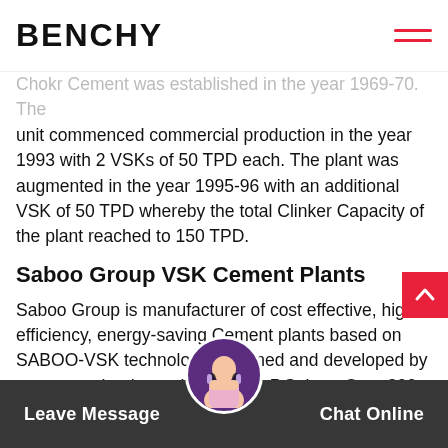BENCHY
Chokr Cement was established in the year 1969-70. The unit commenced commercial production in the year 1993 with 2 VSKs of 50 TPD each. The plant was augmented in the year 1995-96 with an additional VSK of 50 TPD whereby the total Clinker Capacity of the plant reached to 150 TPD.
Saboo Group VSK Cement Plants
Saboo Group is manufacturer of cost effective, high-efficiency, energy-saving Cement plants based on SABOO-VSK technology designed and developed by cement technology wizard Mr. D.P.Saboo. Over 300 Saboo-VSK are installed in more than two decades throughout the Globe. With Saboo-VSK Cement plants from 50 TPD to 300 TPD.
Leave Message  Chat Online